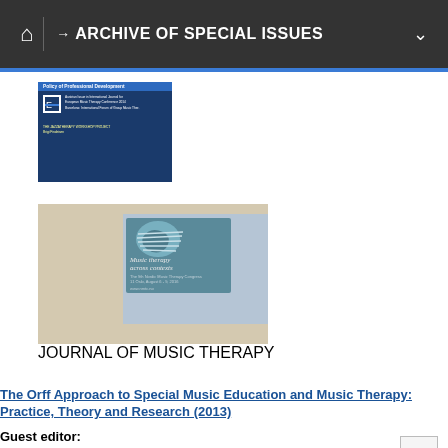→ ARCHIVE OF SPECIAL ISSUES
[Figure (photo): Thumbnail image of a journal issue cover with blue background and text about professional development]
[Figure (photo): Photo of two people at an event with a 'Music therapy across contexts' banner; one person holds a journal]
The Orff Approach to Special Music Education and Music Therapy: Practice, Theory and Research (2013)
Guest editor: